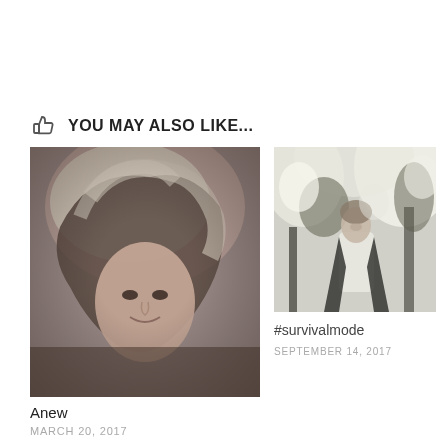YOU MAY ALSO LIKE...
[Figure (photo): Black and white close-up portrait of a woman with long wavy light hair, smiling slightly, soft blurred background]
Anew
MARCH 20, 2017
[Figure (photo): Black and white photo of a person standing outdoors among bright trees, looking upward, wearing a white shirt and dark jacket]
#survivalmode
SEPTEMBER 14, 2017